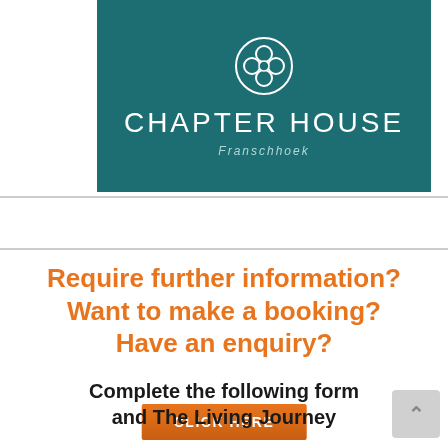[Figure (logo): Chapter House Franschhoek logo on teal/dark green background with circular fleur-de-lis icon, text CHAPTER HOUSE in white uppercase letters and Franschhoek in italic below]
[Figure (other): Orange CLICK HERE button]
Require further information? Want to make a booking? Have an enquiry?
Complete the following form and The Living Journey